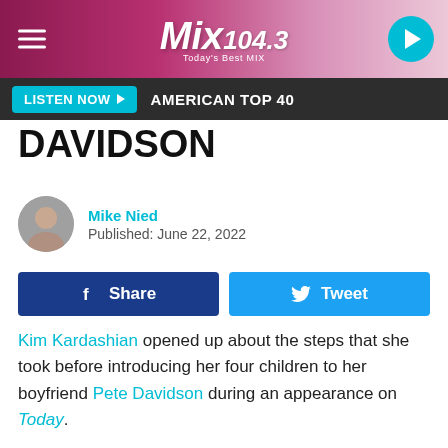Mix 104.3 Today's Best Mix | LISTEN NOW | AMERICAN TOP 40
DAVIDSON
Mike Nied
Published: June 22, 2022
Kim Kardashian opened up about the steps that she took before introducing her four children to her boyfriend Pete Davidson during an appearance on Today.
The mogul stopped by the show for an interview that covered a variety of topics including her current relationship.
Kardashian and Davidson were first spotted out in October